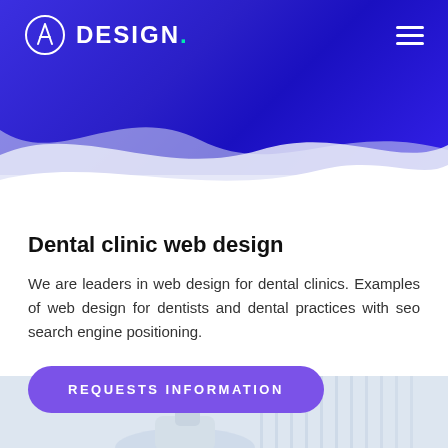[Figure (screenshot): Website header with blue gradient background, company logo (circle with A icon) and 'DESIGN.' text with green dot, hamburger menu icon on right]
[Figure (illustration): Decorative wave shapes transitioning from blue gradient at top to white background, with light purple/lavender wave layers]
Dental clinic web design
We are leaders in web design for dental clinics. Examples of web design for dentists and dental practices with seo search engine positioning.
REQUESTS INFORMATION
[Figure (photo): Partial view of dental clinic interior/equipment photo at bottom of page, light blue/white tones]